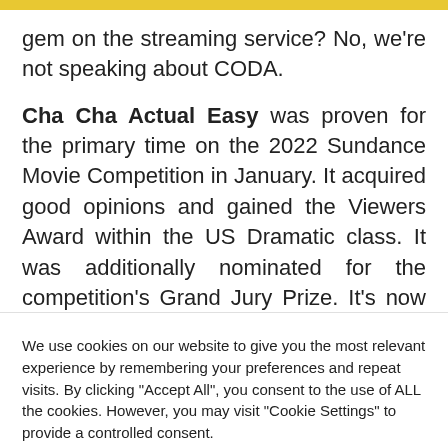gem on the streaming service? No, we're not speaking about CODA.
Cha Cha Actual Easy was proven for the primary time on the 2022 Sundance Movie Competition in January. It acquired good opinions and gained the Viewers Award within the US Dramatic class. It was additionally nominated for the competition's Grand Jury Prize. It's now one of many huge authentic motion pictures that Apple TV Plus will
We use cookies on our website to give you the most relevant experience by remembering your preferences and repeat visits. By clicking "Accept All", you consent to the use of ALL the cookies. However, you may visit "Cookie Settings" to provide a controlled consent.